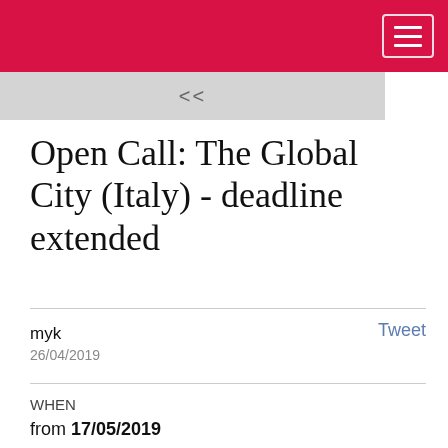[Figure (other): Navigation back button bar with << symbol on grey background]
Open Call: The Global City (Italy) - deadline extended
Tweet
myk
26/04/2019
WHEN
from 17/05/2019
to 30/05/2019
ГДЕ: